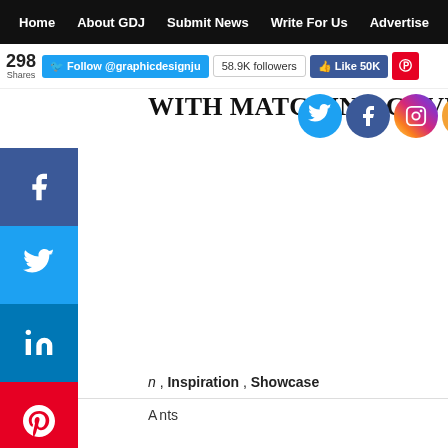Home   About GDJ   Submit News   Write For Us   Advertise
298 Shares  Follow @graphicdesignju  58.9K followers  Like 50K
WITH MATCHING COVER LE…
[Figure (infographic): Social media icons: Twitter (blue), Facebook (blue), Instagram (gradient), RSS (orange) overlapping the title area]
[Figure (infographic): Vertical sidebar share buttons: Facebook (blue), Twitter (blue), LinkedIn (dark blue), Pinterest (red), Plus (grey)]
n , Inspiration , Showcase
ments
[Figure (infographic): Bottom share row with Twitter, LinkedIn, Pinterest, More (+) buttons, then a share count: 298 Shares]
[Figure (infographic): Plus (+) button in sidebar]
Best Resume Templates of 2020 are here, professionally des…
Resume templates that help you make a lasting impression.
experienced designers with extensive exposure to the design…